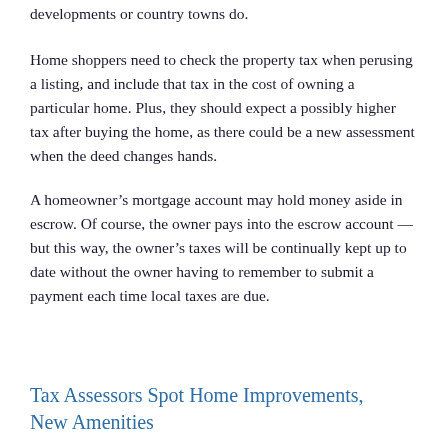developments or country towns do.
Home shoppers need to check the property tax when perusing a listing, and include that tax in the cost of owning a particular home. Plus, they should expect a possibly higher tax after buying the home, as there could be a new assessment when the deed changes hands.
A homeowner’s mortgage account may hold money aside in escrow. Of course, the owner pays into the escrow account — but this way, the owner’s taxes will be continually kept up to date without the owner having to remember to submit a payment each time local taxes are due.
Tax Assessors Spot Home Improvements, New Amenities